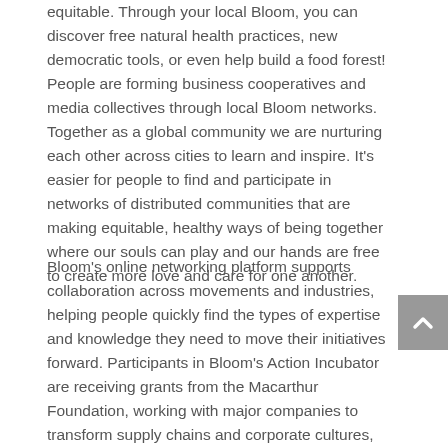equitable. Through your local Bloom, you can discover free natural health practices, new democratic tools, or even help build a food forest! People are forming business cooperatives and media collectives through local Bloom networks. Together as a global community we are nurturing each other across cities to learn and inspire. It's easier for people to find and participate in networks of distributed communities that are making equitable, healthy ways of being together where our souls can play and our hands are free to create more love and care for one another.
Bloom's online networking platform supports collaboration across movements and industries, helping people quickly find the types of expertise and knowledge they need to move their initiatives forward. Participants in Bloom's Action Incubator are receiving grants from the Macarthur Foundation, working with major companies to transform supply chains and corporate cultures, and being written up in major